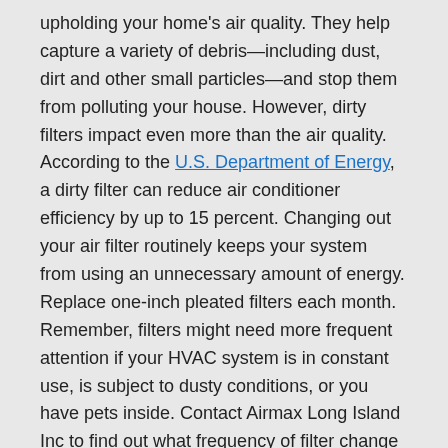upholding your home's air quality. They help capture a variety of debris—including dust, dirt and other small particles—and stop them from polluting your house. However, dirty filters impact even more than the air quality. According to the U.S. Department of Energy, a dirty filter can reduce air conditioner efficiency by up to 15 percent. Changing out your air filter routinely keeps your system from using an unnecessary amount of energy. Replace one-inch pleated filters each month. Remember, filters might need more frequent attention if your HVAC system is in constant use, is subject to dusty conditions, or you have pets inside. Contact Airmax Long Island Inc to find out what frequency of filter change is appropriate for your system.
Schedule Timely HVAC Service